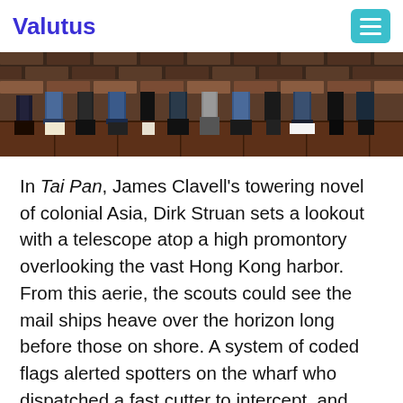Valutus
[Figure (photo): Cropped photo showing the lower legs and feet of a group of people standing on a wooden floor in front of a brick wall.]
In Tai Pan, James Clavell's towering novel of colonial Asia, Dirk Struan sets a lookout with a telescope atop a high promontory overlooking the vast Hong Kong harbor. From this aerie, the scouts could see the mail ships heave over the horizon long before those on shore. A system of coded flags alerted spotters on the wharf who dispatched a fast cutter to intercept, and Dirk – who now had the latest news – was wheeling